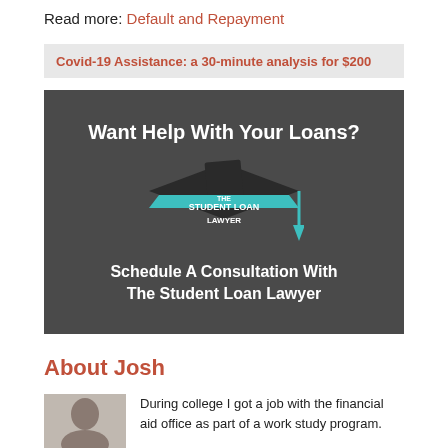Read more: Default and Repayment
Covid-19 Assistance: a 30-minute analysis for $200
[Figure (illustration): Advertisement banner for The Student Loan Lawyer. Dark gray background with white bold text reading 'Want Help With Your Loans?' at top. Graduation cap logo with teal banner reading 'THE STUDENT LOAN LAWYER' in white. Below: white bold text 'Schedule A Consultation With The Student Loan Lawyer'.]
About Josh
[Figure (photo): Headshot photo of Josh, a man with short dark hair against a light background.]
During college I got a job with the financial aid office as part of a work study program.